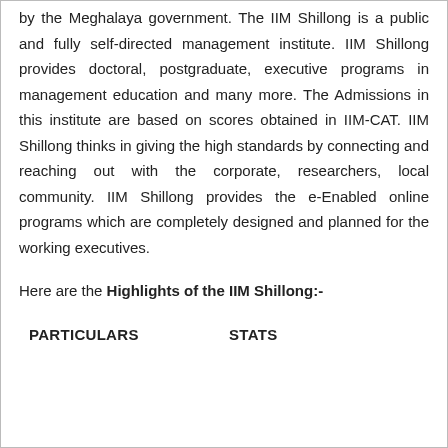by the Meghalaya government. The IIM Shillong is a public and fully self-directed management institute. IIM Shillong provides doctoral, postgraduate, executive programs in management education and many more. The Admissions in this institute are based on scores obtained in IIM-CAT. IIM Shillong thinks in giving the high standards by connecting and reaching out with the corporate, researchers, local community. IIM Shillong provides the e-Enabled online programs which are completely designed and planned for the working executives.
Here are the Highlights of the IIM Shillong:-
| PARTICULARS | STATS |
| --- | --- |